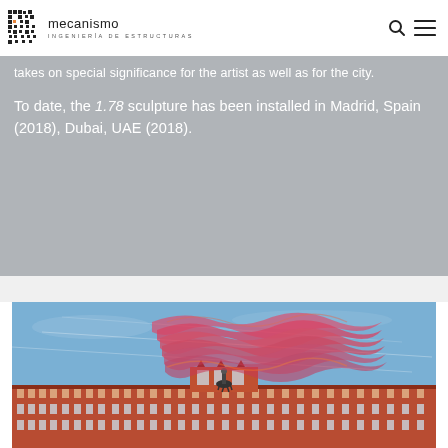[Figure (logo): Mecanismo Ingeniería de Estructuras logo with mosaic/pixel pattern icon]
takes on special significance for the artist as well as for the city.
To date, the 1.78 sculpture has been installed in Madrid, Spain (2018), Dubai, UAE (2018).
[Figure (photo): Photograph of Plaza Mayor in Madrid with red wave-like mesh sculpture suspended in the sky above the historic building and equestrian statue]